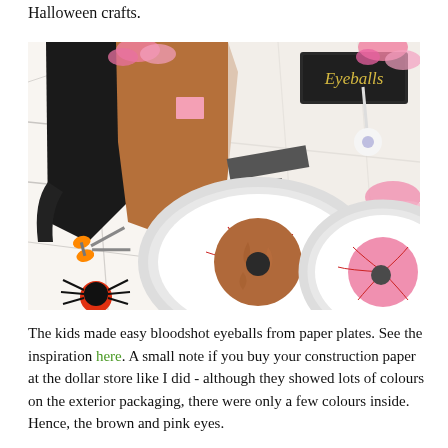Halloween crafts.
[Figure (photo): Overhead view of Halloween craft supplies on a black-and-white spider web patterned surface: paper plates decorated as bloodshot eyeballs, brown and pink construction paper cut pieces, orange scissors, a small chalkboard sign reading 'Eyeballs', tissue paper flowers, and a black spider decoration.]
The kids made easy bloodshot eyeballs from paper plates. See the inspiration here. A small note if you buy your construction paper at the dollar store like I did - although they showed lots of colours on the exterior packaging, there were only a few colours inside. Hence, the brown and pink eyes.